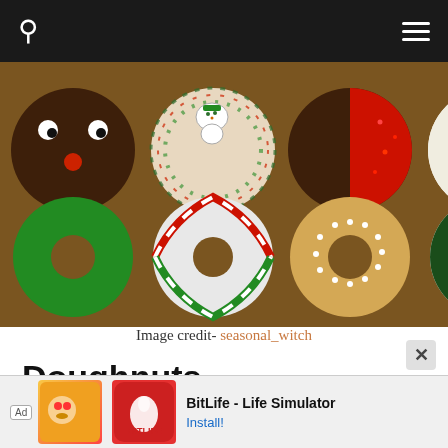Navigation bar with search and menu icons
[Figure (photo): Box of eight Christmas-themed decorated doughnuts: reindeer face (chocolate), Christmas sprinkles with snowman topper, chocolate half-dipped red sprinkle, Santa Claus face (white sprinkles), green sugar-coated, candy cane striped, glazed with snowflake sprinkles, dark green and white with snowman figurine]
Image credit- seasonal_witch
Doughnuts
There’s no way this list can be complete without t